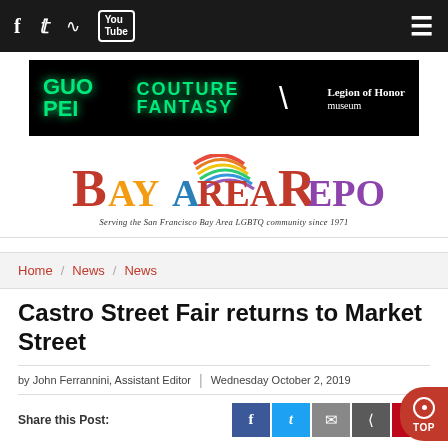Navigation bar with social icons: Facebook, Twitter, RSS, YouTube, and hamburger menu
[Figure (screenshot): Advertisement banner for Guo Pei Couture Fantasy at Legion of Honor museum, black background with green neon text]
[Figure (logo): Bay Area Reporter logo with rainbow flag design and tagline: Serving the San Francisco Bay Area LGBTQ community since 1971]
Home / News / News
Castro Street Fair returns to Market Street
by John Ferrannini, Assistant Editor | Wednesday October 2, 2019
Share this Post: